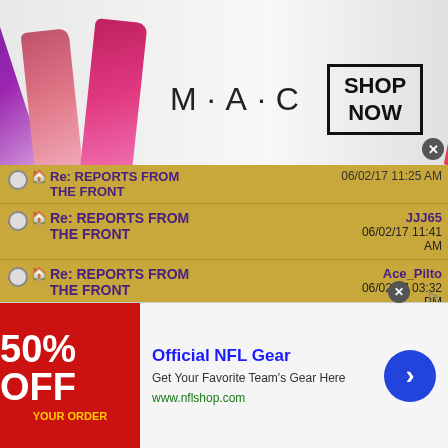[Figure (screenshot): MAC cosmetics advertisement banner with lipsticks and SHOP NOW button]
| Thread Title | Author | Date |
| --- | --- | --- |
| Re: REPORTS FROM THE FRONT |  | 06/02/17 11:25 AM |
| Re: REPORTS FROM THE FRONT | JJJ65 | 06/02/17 11:41 AM |
| Re: REPORTS FROM THE FRONT | Ace_Pilto | 06/02/17 03:32 PM |
| Re: REPORTS FROM THE FRONT | stljeffbb | 06/24/17 03:00 AM |
| Re: REPORTS FROM THE FRONT | stljeffbb | 06/25/17 04:21 AM |
| Re: REPORTS FROM THE FRONT | Robert_Wiggins | 06/25/17 12:59 PM |
| Re: REPORTS FROM | stljeffbb | 06/25/17 02:00 PM |
[Figure (screenshot): NFL Gear advertisement with 50% OFF banner, Official NFL Gear text, Get Your Favorite Team's Gear Here, www.nflshop.com, and arrow button]